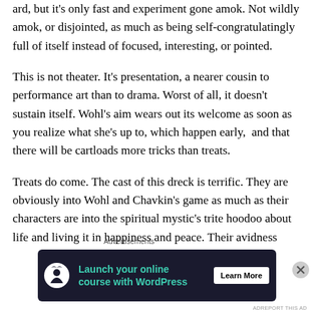ard, but it's only fast and experiment gone amok. Not wildly amok, or disjointed, as much as being self-congratulatingly full of itself instead of focused, interesting, or pointed.
This is not theater. It's presentation, a nearer cousin to performance art than to drama. Worst of all, it doesn't sustain itself. Wohl's aim wears out its welcome as soon as you realize what she's up to, which happen early,  and that there will be cartloads more tricks than treats.
Treats do come. The cast of this dreck is terrific. They are obviously into Wohl and Chavkin's game as much as their characters are into the spiritual mystic's trite hoodoo about life and living it in happiness and peace. Their avidness
Advertisements
[Figure (other): Advertisement banner for WordPress online course. Dark navy background with teal icon (person with tree/leaf), teal text 'Launch your online course with WordPress', and white 'Learn More' button.]